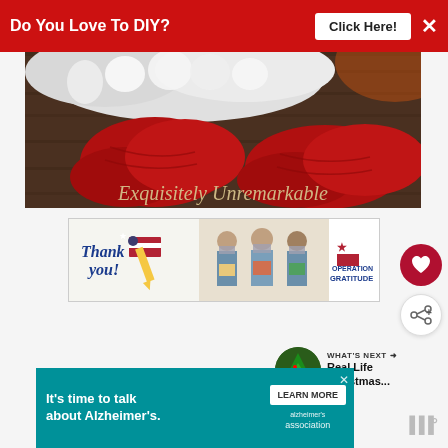[Figure (screenshot): Red top banner advertisement: 'Do You Love To DIY?' with 'Click Here!' button and X close button on red background]
[Figure (photo): Hero image showing red Santa boots/shoes with white fur trim against a wooden background, with 'Exquisitely Unremarkable' watermark text]
[Figure (screenshot): Operation Gratitude banner ad showing 'Thank you!' with US flag pencil graphic and three masked healthcare workers holding cards]
[Figure (screenshot): Heart/like button (dark red circle with heart icon) and share button (white circle with share icon)]
[Figure (screenshot): WHAT'S NEXT panel with thumbnail and text 'Real Life Christmas...']
[Figure (screenshot): Alzheimer's Association bottom banner: 'It's time to talk about Alzheimer's.' with LEARN MORE button and Alzheimer's association logo, teal background]